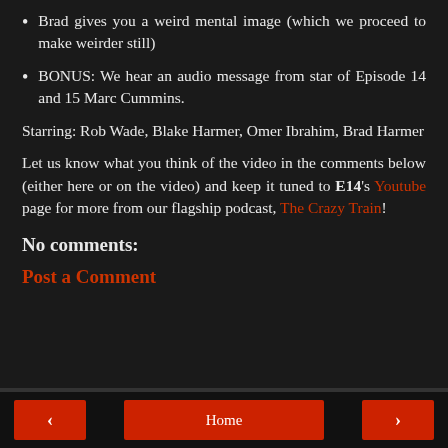Brad gives you a weird mental image (which we proceed to make weirder still)
BONUS: We hear an audio message from star of Episode 14 and 15 Marc Cummins.
Starring: Rob Wade, Blake Harmer, Omer Ibrahim, Brad Harmer
Let us know what you think of the video in the comments below (either here or on the video) and keep it tuned to E14's Youtube page for more from our flagship podcast, The Crazy Train!
No comments:
Post a Comment
< Home >